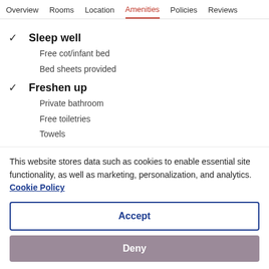Overview  Rooms  Location  Amenities  Policies  Reviews
✓ Sleep well
Free cot/infant bed
Bed sheets provided
✓ Freshen up
Private bathroom
Free toiletries
Towels
✓ Stay connected (partial)
This website stores data such as cookies to enable essential site functionality, as well as marketing, personalization, and analytics. Cookie Policy
Accept
Deny